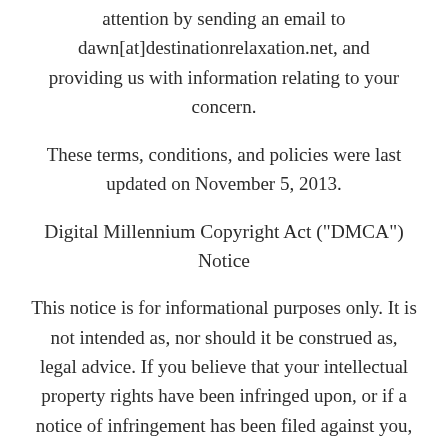attention by sending an email to dawn[at]destinationrelaxation.net, and providing us with information relating to your concern.
These terms, conditions, and policies were last updated on November 5, 2013.
Digital Millennium Copyright Act ("DMCA") Notice
This notice is for informational purposes only. It is not intended as, nor should it be construed as, legal advice. If you believe that your intellectual property rights have been infringed upon, or if a notice of infringement has been filed against you,